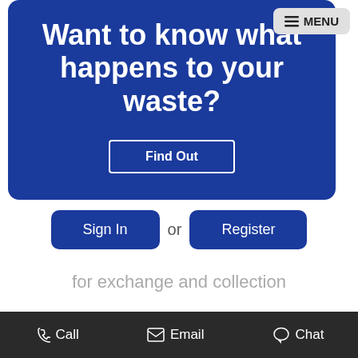Want to know what happens to your waste?
Find Out
Sign In or Register
for exchange and collection
Download the Portland App
Call  Email  Chat